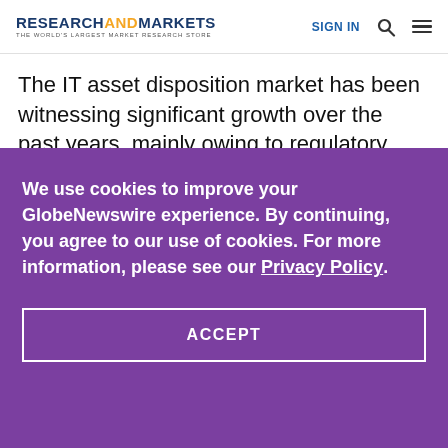RESEARCHANDMARKETS THE WORLD'S LARGEST MARKET RESEARCH STORE | SIGN IN
The IT asset disposition market has been witnessing significant growth over the past years, mainly owing to regulatory compliances,
We use cookies to improve your GlobeNewswire experience. By continuing, you agree to our use of cookies. For more information, please see our Privacy Policy.
ACCEPT